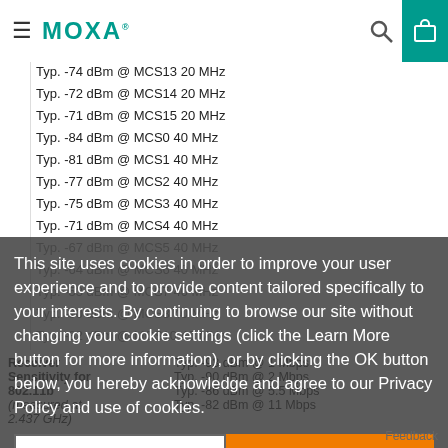MOXA
Typ. -74 dBm @ MCS13 20 MHz
Typ. -72 dBm @ MCS14 20 MHz
Typ. -71 dBm @ MCS15 20 MHz
Typ. -84 dBm @ MCS0 40 MHz
Typ. -81 dBm @ MCS1 40 MHz
Typ. -77 dBm @ MCS2 40 MHz
Typ. -75 dBm @ MCS3 40 MHz
Typ. -71 dBm @ MCS4 40 MHz
Typ. -67 dBm @ MCS5 40 MHz
Typ. -64 dBm @ MCS6 40 MHz
Typ. -53 dBm @ MCS7 40 MHz
Typ. -90 dBm @ MCS8 40 MHz
Typ. -82 dBm @ MCS10 40 MHz
Typ. -77 dBm @ MCS12 40 MHz
Typ. -75 dBm @ MCS13 40 MHz
Typ. -68 dBm @ MCS15 40 MHz
This site uses cookies in order to improve your user experience and to provide content tailored specifically to your interests. By continuing to browse our site without changing your cookie settings (click the Learn More button for more information), or by clicking the OK button below, you hereby acknowledge and agree to our Privacy Policy and use of cookies.
Receiver Sensitivity for 802.11b (measured at 2.437 GHz)
Typ. -93 dBm @ 1 Mbps
Typ. -90 dBm @ 2 Mbps
Typ. -86 dBm @ 5.5 Mbps
Typ. -82 dBm @ 11 Mbps
Feedback